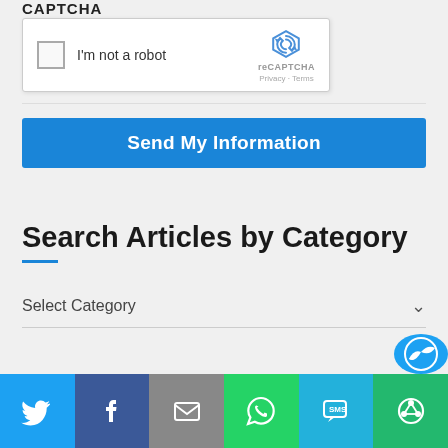CAPTCHA
[Figure (screenshot): reCAPTCHA widget with checkbox labeled 'I'm not a robot', reCAPTCHA logo, Privacy and Terms links]
Send My Information
Search Articles by Category
Select Category
[Figure (infographic): Social share bar with Twitter, Facebook, Email, WhatsApp, SMS, and Share icons]